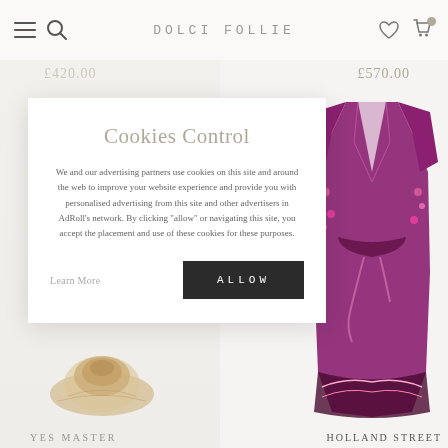DOLCI FOLLIE
£420.00
£570.00
Cookies Control
We and our advertising partners use cookies on this site and around the web to improve your website experience and provide you with personalised advertising from this site and other advertisers in AdRoll's network. By clicking "allow" or navigating this site, you accept the placement and use of these cookies for these purposes.
Learn More
ALLOW
[Figure (photo): Purple/magenta floral embroidered long kimono robe product photo on white background]
YES MASTER
HOLLAND STREET